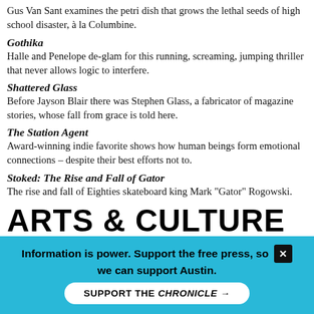Gus Van Sant examines the petri dish that grows the lethal seeds of high school disaster, à la Columbine.
Gothika
Halle and Penelope de-glam for this running, screaming, jumping thriller that never allows logic to interfere.
Shattered Glass
Before Jayson Blair there was Stephen Glass, a fabricator of magazine stories, whose fall from grace is told here.
The Station Agent
Award-winning indie favorite shows how human beings form emotional connections – despite their best efforts not to.
Stoked: The Rise and Fall of Gator
The rise and fall of Eighties skateboard king Mark "Gator" Rogowski.
ARTS & CULTURE
Sisters Within Circles
The new exhibition "Circles," featuring abstract art by Jacqueline May and Renné Rockett, reveals a
[Figure (illustration): Abstract circular art with red lines forming a starburst/flower pattern on a light background]
Information is power. Support the free press, so we can support Austin.
SUPPORT THE CHRONICLE →